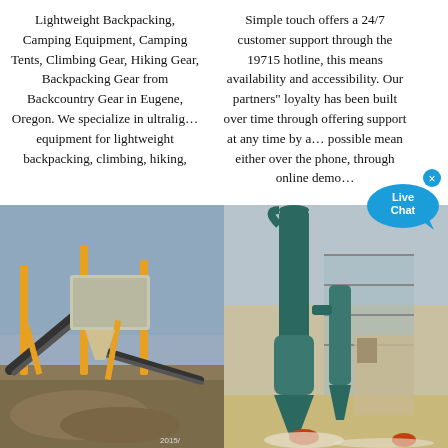Lightweight Backpacking, Camping Equipment, Camping Tents, Climbing Gear, Hiking Gear, Backpacking Gear from Backcountry Gear in Eugene, Oregon. We specialize in ultralig… equipment for lightweight backpacking, climbing, hiking,
Simple touch offers a 24/7 customer support through the 19715 hotline, this means availability and accessibility. Our partners" loyalty has been built over time through offering support at any time by a… possible mean either over the phone, through online demo…
[Figure (photo): Industrial mining/crushing equipment with yellow conveyor belts and machinery at an outdoor site with gravel/aggregate in the foreground.]
[Figure (photo): Industrial vertical mill or dust collector equipment (green/teal tall cylindrical towers) at a construction or industrial site.]